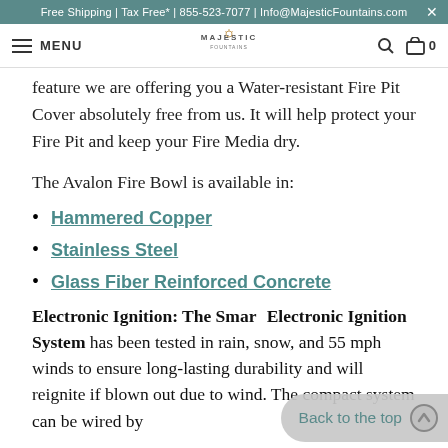Free Shipping | Tax Free* | 855-523-7077 | Info@MajesticFountains.com
MENU | MAJESTIC FOUNTAINS | 0
feature we are offering you a Water-resistant Fire Pit Cover absolutely free from us. It will help protect your Fire Pit and keep your Fire Media dry.
The Avalon Fire Bowl is available in:
Hammered Copper
Stainless Steel
Glass Fiber Reinforced Concrete
Electronic Ignition: The Smart Electronic Ignition System has been tested in rain, snow, and 55 mph winds to ensure long-lasting durability and will reignite if blown out due to wind. The compact system can be wired by
Back to the top